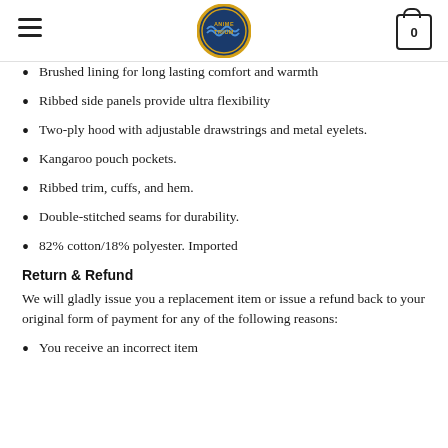ANIMETRIUM
Brushed lining for long lasting comfort and warmth
Ribbed side panels provide ultra flexibility
Two-ply hood with adjustable drawstrings and metal eyelets.
Kangaroo pouch pockets.
Ribbed trim, cuffs, and hem.
Double-stitched seams for durability.
82% cotton/18% polyester. Imported
Return & Refund
We will gladly issue you a replacement item or issue a refund back to your original form of payment for any of the following reasons:
You receive an incorrect item